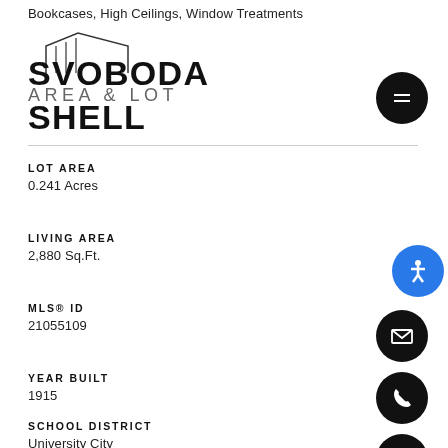Bookcases, High Ceilings, Window Treatments
[Figure (logo): Svoboda Shell real estate logo — simple line drawing of a house roof with vertical lines]
SVOBODA AREA & LOT SHELL
LOT AREA
0.241 Acres
LIVING AREA
2,880 Sq.Ft.
MLS® ID
21055109
YEAR BUILT
1915
SCHOOL DISTRICT
University City